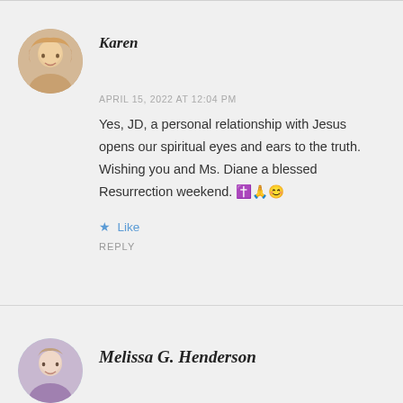Karen
APRIL 15, 2022 AT 12:04 PM
Yes, JD, a personal relationship with Jesus opens our spiritual eyes and ears to the truth. Wishing you and Ms. Diane a blessed Resurrection weekend. ✝️🙏😊
★ Like
REPLY
Melissa G. Henderson